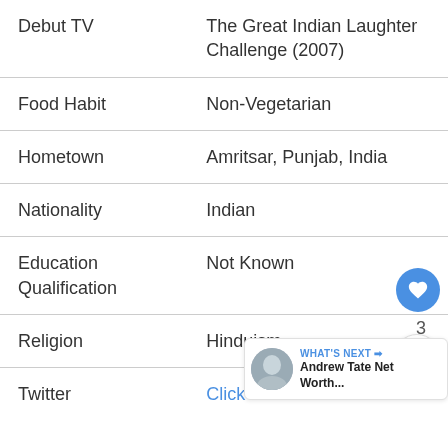| Field | Value |
| --- | --- |
| Debut TV | The Great Indian Laughter Challenge (2007) |
| Food Habit | Non-Vegetarian |
| Hometown | Amritsar, Punjab, India |
| Nationality | Indian |
| Education Qualification | Not Known |
| Religion | Hinduism |
| Twitter | Click Here |